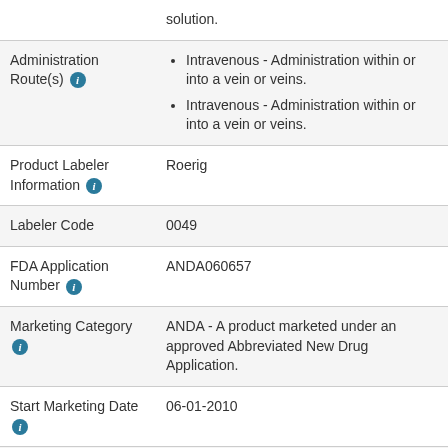|  | solution. |
| Administration Route(s) | Intravenous - Administration within or into a vein or veins.
Intravenous - Administration within or into a vein or veins. |
| Product Labeler Information | Roerig |
| Labeler Code | 0049 |
| FDA Application Number | ANDA060657 |
| Marketing Category | ANDA - A product marketed under an approved Abbreviated New Drug Application. |
| Start Marketing Date | 06-01-2010 |
| Listing | 12-31-2023 |